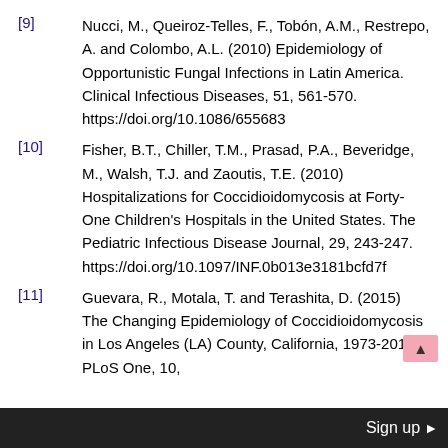[9]   Nucci, M., Queiroz-Telles, F., Tobón, A.M., Restrepo, A. and Colombo, A.L. (2010) Epidemiology of Opportunistic Fungal Infections in Latin America. Clinical Infectious Diseases, 51, 561-570. https://doi.org/10.1086/655683
[10]   Fisher, B.T., Chiller, T.M., Prasad, P.A., Beveridge, M., Walsh, T.J. and Zaoutis, T.E. (2010) Hospitalizations for Coccidioidomycosis at Forty-One Children's Hospitals in the United States. The Pediatric Infectious Disease Journal, 29, 243-247. https://doi.org/10.1097/INF.0b013e3181bcfd7f
[11]   Guevara, R., Motala, T. and Terashita, D. (2015) The Changing Epidemiology of Coccidioidomycosis in Los Angeles (LA) County, California, 1973-2011. PLoS One, 10,
Sign up